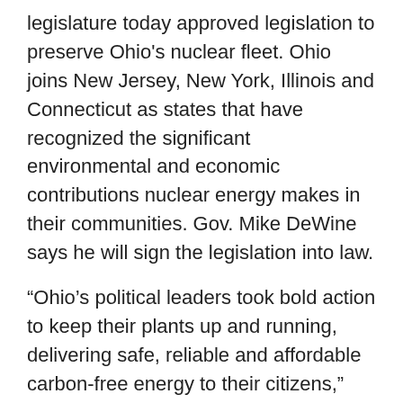legislature today approved legislation to preserve Ohio's nuclear fleet. Ohio joins New Jersey, New York, Illinois and Connecticut as states that have recognized the significant environmental and economic contributions nuclear energy makes in their communities. Gov. Mike DeWine says he will sign the legislation into law.
“Ohio’s political leaders took bold action to keep their plants up and running, delivering safe, reliable and affordable carbon-free energy to their citizens,” said Martin Williams, NPP Co-Chair and the National State Legislative Coordinator for the International Brotherhood of Boilermakers. “Yet here in Pennsylvania, our politicians have made a decision to allow our nuclear plants to close. At the same time workers in Ohio are celebrating, building and construction trades workers in Pennsylvania are missing out on what should have been an important paycheck working at Three Mile Island near